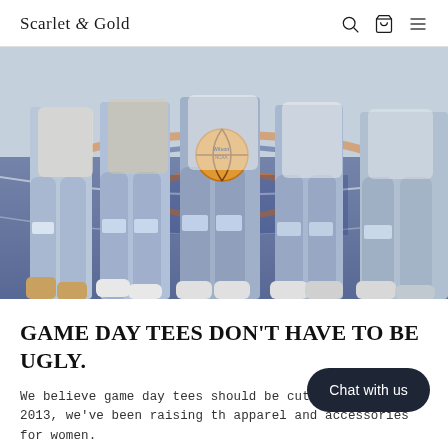Scarlet & Gold
[Figure (photo): Four women standing on a basketball court, wearing ripped jeans and white sneakers; one holds a Wilson NCAA basketball. The image shows their bodies from approximately the waist down.]
GAME DAY TEES DON'T HAVE TO BE UGLY.
We believe game day tees should be cut quality. Since 2013, we've been raising th apparel and accessories for women.